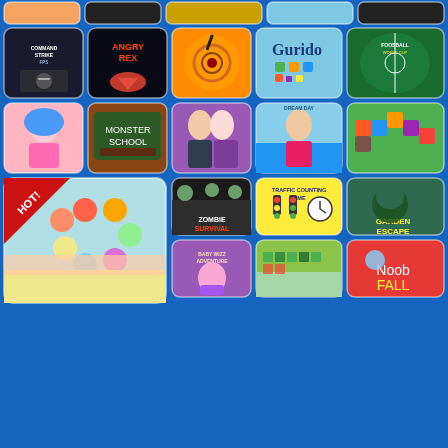[Figure (screenshot): Game portal page showing a grid of game thumbnails on a blue background. Games visible include: Command Strike FPS, Angry Rex, Ninja archery game, Gurido, Foosball World Cup, fashion girl game, Monster School, fashion duo game, beach girl game, pixel platformer, HOT roller chain game, Zombie Survival, Traffic Counting Time, Garden Escape, Baby Wizz Adventure, farm game, Noob Fall.]